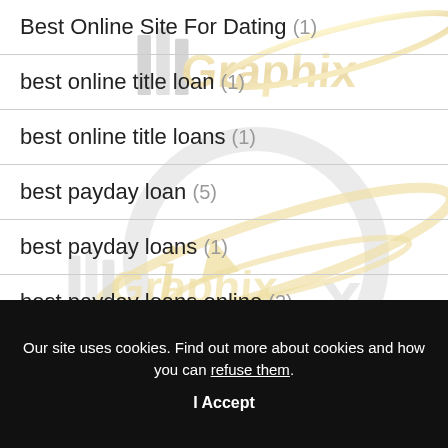[Figure (logo): IllGraphix watermark logo with gold and silver text design, repeated/overlapping across the white background]
Best Online Site For Dating (1)
best online title loan (1)
best online title loans (1)
best payday loan (5)
best payday loans (1)
best payday loans online (3)
Our site uses cookies. Find out more about cookies and how you can refuse them.
I Accept